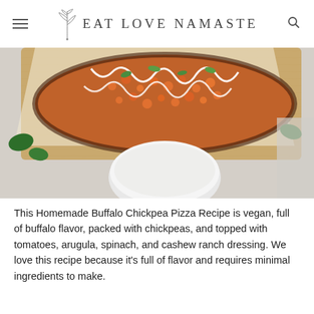EAT LOVE NAMASTE
[Figure (photo): Overhead view of a buffalo chickpea pizza on a wooden cutting board, drizzled with white cashew ranch dressing, garnished with green onions and herbs. A white bowl with dipping sauce is visible at the bottom, along with fresh spinach leaves on the side.]
This Homemade Buffalo Chickpea Pizza Recipe is vegan, full of buffalo flavor, packed with chickpeas, and topped with tomatoes, arugula, spinach, and cashew ranch dressing. We love this recipe because it’s full of flavor and requires minimal ingredients to make.